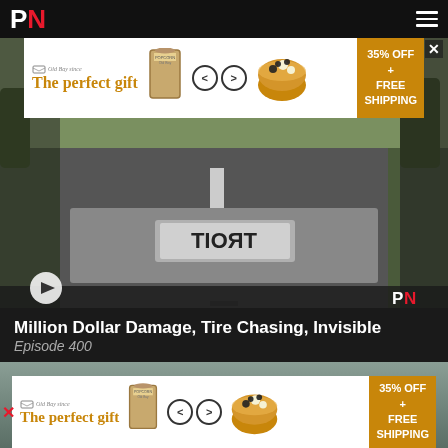[Figure (screenshot): PN news website header navigation bar with white P and red N logo on black background, hamburger menu on right]
[Figure (screenshot): Advertisement banner: 'The perfect gift' with Old Bay seasoning product imagery, navigation arrows, popcorn bowl, and 35% OFF + FREE SHIPPING offer box in gold]
[Figure (photo): Dashcam video thumbnail showing underside/rear of a vehicle with reversed license plate 'TROIT' on a road, play button visible bottom left, PN watermark bottom right]
Million Dollar Damage, Tire Chasing, Invisible Trailers, Burn...
Episode 400
[Figure (photo): Second video thumbnail showing a vehicle exterior in muted grey-green tones]
[Figure (screenshot): Bottom advertisement banner: 'The perfect gift' with Old Bay seasoning product imagery, navigation arrows, popcorn bowl, and 35% OFF + FREE SHIPPING offer box in gold]